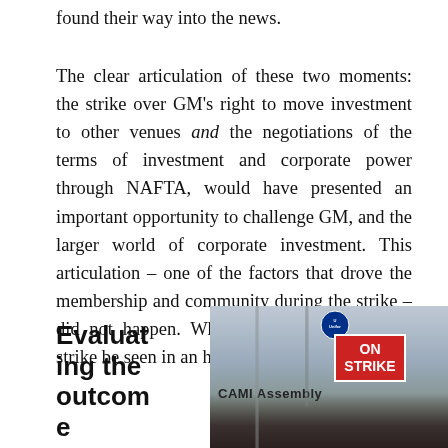found their way into the news.
The clear articulation of these two moments: the strike over GM’s right to move investment to other venues and the negotiations of the terms of investment and corporate power through NAFTA, would have presented an important opportunity to challenge GM, and the larger world of corporate investment. This articulation – one of the factors that drove the membership and community during the strike – did not happen. Why? And how should this strike be seen in an historical context?
Evaluating the outcom e
[Figure (photo): A protest photo showing people at a CAMI Assembly strike, with a red ON STRIKE sign and a Unifor logo visible. People in the foreground are wearing red hats.]